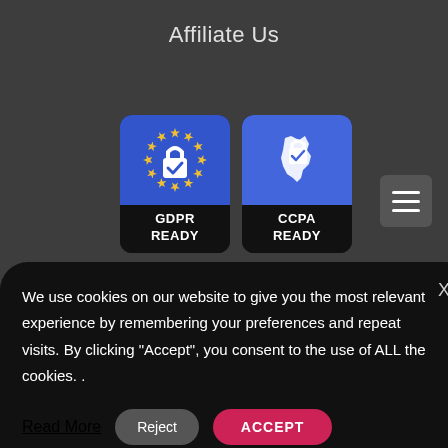Affiliate Us
[Figure (logo): GDPR READY badge — blue square with EU stars circle around a padlock with checkmark, black bottom strip with GDPR READY text]
[Figure (logo): CCPA READY badge — blue square with California state silhouette and padlock with checkmark, black bottom strip with CCPA READY text]
We use cookies on our website to give you the most relevant experience by remembering your preferences and repeat visits. By clicking “Accept”, you consent to the use of ALL the cookies. .
Read More
Reject
ACCEPT
Cookie settings